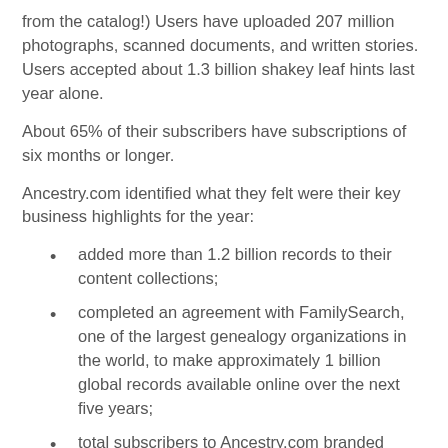from the catalog!) Users have uploaded 207 million photographs, scanned documents, and written stories. Users accepted about 1.3 billion shakey leaf hints last year alone.
About 65% of their subscribers have subscriptions of six months or longer.
Ancestry.com identified what they felt were their key business highlights for the year:
added more than 1.2 billion records to their content collections;
completed an agreement with FamilySearch, one of the largest genealogy organizations in the world, to make approximately 1 billion global records available online over the next five years;
total subscribers to Ancestry.com branded websites increased to approximately 2.1 million or 6% compared to December 31, 2012;
acquired Find A Grave, Inc., which provides a significant collection of burial information with